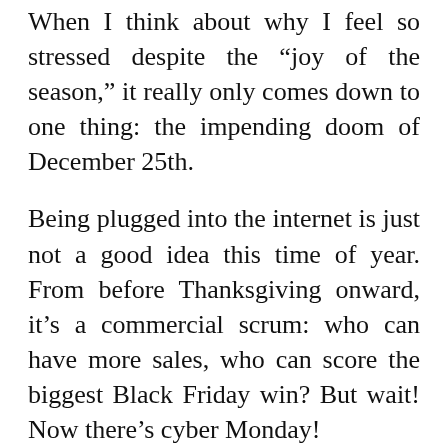When I think about why I feel so stressed despite the “joy of the season,” it really only comes down to one thing: the impending doom of December 25th.
Being plugged into the internet is just not a good idea this time of year. From before Thanksgiving onward, it’s a commercial scrum: who can have more sales, who can score the biggest Black Friday win? But wait! Now there’s cyber Monday!
It’s not like December 25th is a surprise either; get past enough Christmases and you know what to expect, you have a general idea of what your friends and family members would